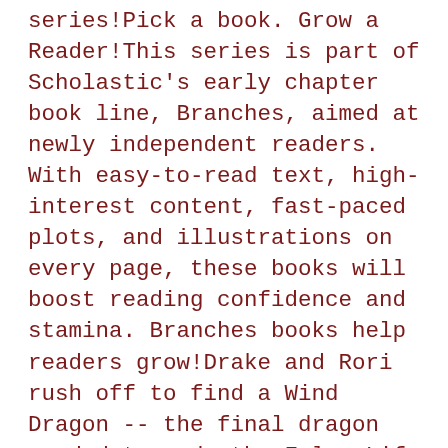series!Pick a book. Grow a Reader!This series is part of Scholastic's early chapter book line, Branches, aimed at newly independent readers. With easy-to-read text, high-interest content, fast-paced plots, and illustrations on every page, these books will boost reading confidence and stamina. Branches books help readers grow!Drake and Rori rush off to find a Wind Dragon -- the final dragon needed to undo the False Life spell. But they soon learn that the Wind Dragon is being held captive! Can they rescue her and her Dragon Master, Quilla? They'll need to hurry because evil wizard Astrid has already cast her terrible spell... Prepare for the Dragon Masters' biggest battle yet! With engaging black-and-white artwork on every page, kids won't be able to put down this action-packed book!